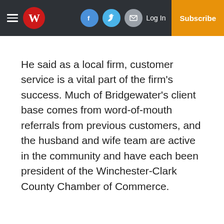Winchester newspaper header with logo, social icons, Log In, and Subscribe button
He said as a local firm, customer service is a vital part of the firm’s success. Much of Bridgewater’s client base comes from word-of-mouth referrals from previous customers, and the husband and wife team are active in the community and have each been president of the Winchester-Clark County Chamber of Commerce.